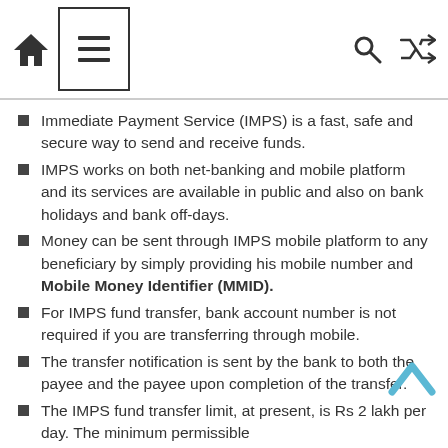Navigation header with home, menu, search, and shuffle icons
Immediate Payment Service (IMPS) is a fast, safe and secure way to send and receive funds.
IMPS works on both net-banking and mobile platform and its services are available in public and also on bank holidays and bank off-days.
Money can be sent through IMPS mobile platform to any beneficiary by simply providing his mobile number and Mobile Money Identifier (MMID).
For IMPS fund transfer, bank account number is not required if you are transferring through mobile.
The transfer notification is sent by the bank to both the payee and the payee upon completion of the transfer.
The IMPS fund transfer limit, at present, is Rs 2 lakh per day. The minimum permissible